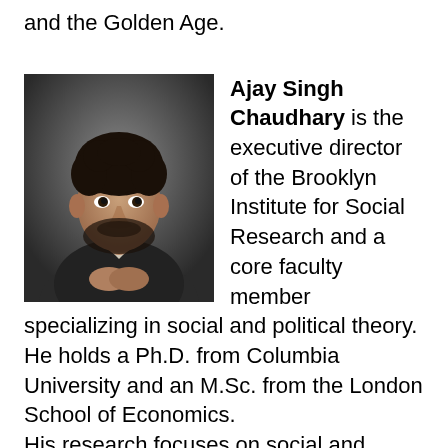and the Golden Age.
[Figure (photo): Portrait photo of Ajay Singh Chaudhary, a man with curly dark hair and beard, wearing a dark cardigan, hands clasped, against a dark background.]
Ajay Singh Chaudhary is the executive director of the Brooklyn Institute for Social Research and a core faculty member specializing in social and political theory. He holds a Ph.D. from Columbia University and an M.Sc. from the London School of Economics. His research focuses on social and political theory, Frankfurt School critical theory, political economy, political ecology, media, religion, and post-colonial studies. He has written for the The Guardian, The Nation, The Baffler, n+1, Los Angeles Review of Books, Quartz, Social Text, Dialectical